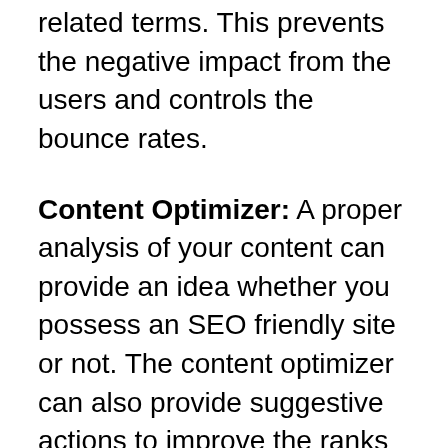related terms. This prevents the negative impact from the users and controls the bounce rates.
Content Optimizer: A proper analysis of your content can provide an idea whether you possess an SEO friendly site or not. The content optimizer can also provide suggestive actions to improve the ranks of search engine.
Menu Attributes: This particular module helps the administrator to identify some specific attributes with styles, class, name, relationship id etc. In the SEO terms, the menu attributes can be applied as rel='nofollow'. The nofollow feature helps in distinguishing between important and less